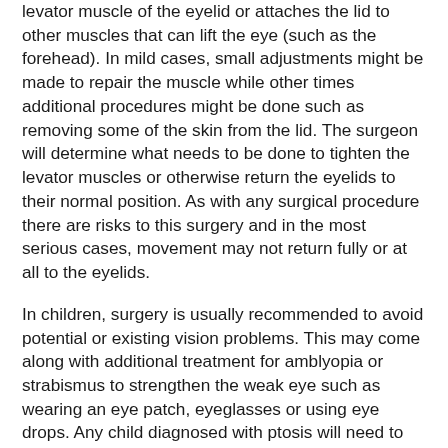levator muscle of the eyelid or attaches the lid to other muscles that can lift the eye (such as the forehead). In mild cases, small adjustments might be made to repair the muscle while other times additional procedures might be done such as removing some of the skin from the lid. The surgeon will determine what needs to be done to tighten the levator muscles or otherwise return the eyelids to their normal position. As with any surgical procedure there are risks to this surgery and in the most serious cases, movement may not return fully or at all to the eyelids.
In children, surgery is usually recommended to avoid potential or existing vision problems. This may come along with additional treatment for amblyopia or strabismus to strengthen the weak eye such as wearing an eye patch, eyeglasses or using eye drops. Any child diagnosed with ptosis will need to have regular evaluations with an eye doctor to monitor the condition and the child's vision.
If you suspect you or a loved one may have ptosis, try looking at some old pictures to see if there is a noticeable change and of course make an appointment with your eye doctor as soon as possible to assess if there is a problem.